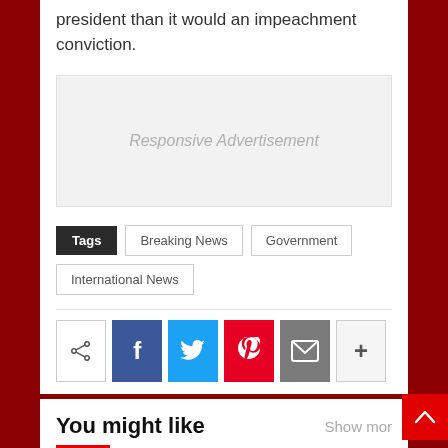president than it would an impeachment conviction.
[Figure (other): Responsive Advertisement placeholder box]
Tags  Breaking News  Government  International News
[Figure (other): Social share buttons: share, Facebook, Twitter, Pinterest, Email, more]
You might like
Show more